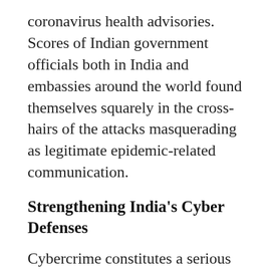coronavirus health advisories. Scores of Indian government officials both in India and embassies around the world found themselves squarely in the cross-hairs of the attacks masquerading as legitimate epidemic-related communication.
Strengthening India's Cyber Defenses
Cybercrime constitutes a serious problem for India even outside of crisis periods. India was among the top five most targeted countries in the world by cyber criminals in recent years, reflecting the significant amount of work still